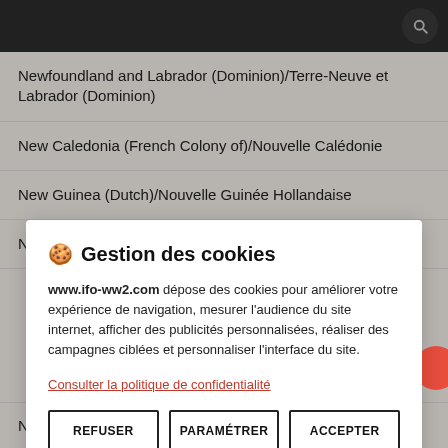Newfoundland and Labrador (Dominion)/Terre-Neuve et Labrador (Dominion)
New Caledonia (French Colony of)/Nouvelle Calédonie
New Guinea (Dutch)/Nouvelle Guinée Hollandaise
New Hebrides Condominium/Condominium des Nouvelles-
🍪  Gestion des cookies
www.ifo-ww2.com dépose des cookies pour améliorer votre expérience de navigation, mesurer l'audience du site internet, afficher des publicités personnalisées, réaliser des campagnes ciblées et personnaliser l'interface du site.
Consulter la politique de confidentialité
Nyasaland/Nyasaland (1 Kit)